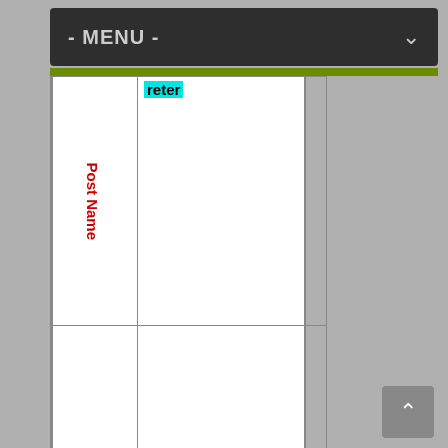- MENU -
| Post Name | Interpreter |
| --- | --- |
| Post Name | reter |
| No Of Vacancies | □□□□ □ □ □□□□ □□□ |
| Pay Scale | Rs. 47,600/- Level 8 |
| Qual | Degree in Forei |